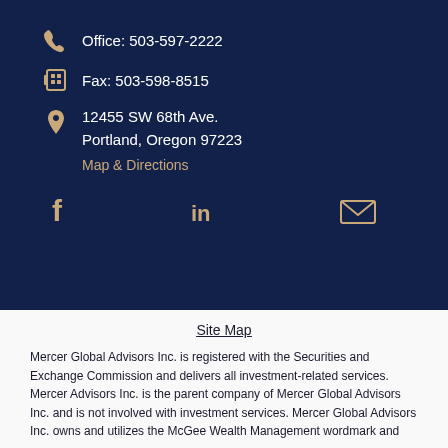Office: 503-597-2222
Fax: 503-598-8515
12455 SW 68th Ave.
Portland, Oregon 97223
Map & Directions
[Figure (other): Social media icons: Facebook, LinkedIn, Email]
Site Map
Mercer Global Advisors Inc. is registered with the Securities and Exchange Commission and delivers all investment-related services. Mercer Advisors Inc. is the parent company of Mercer Global Advisors Inc. and is not involved with investment services. Mercer Global Advisors Inc. owns and utilizes the McGee Wealth Management wordmark and